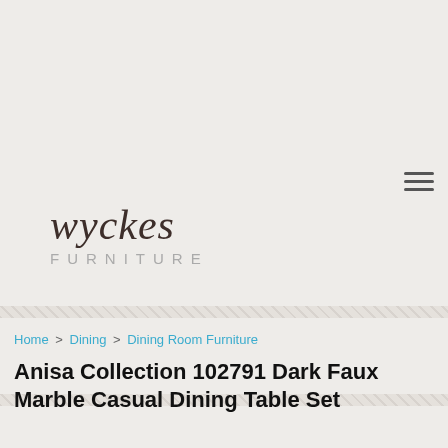[Figure (logo): Wyckes Furniture logo — italic serif wordmark 'wyckes' in dark brown over 'FURNITURE' in light gray spaced capitals]
Home > Dining > Dining Room Furniture
Anisa Collection 102791 Dark Faux Marble Casual Dining Table Set